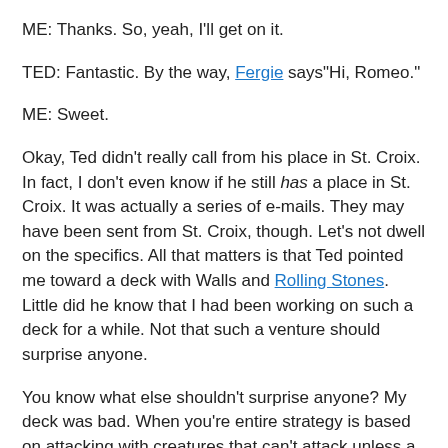ME: Thanks. So, yeah, I'll get on it.
TED: Fantastic. By the way, Fergie says"Hi, Romeo."
ME: Sweet.
Okay, Ted didn't really call from his place in St. Croix. In fact, I don't even know if he still has a place in St. Croix. It was actually a series of e-mails. They may have been sent from St. Croix, though. Let's not dwell on the specifics. All that matters is that Ted pointed me toward a deck with Walls and Rolling Stones. Little did he know that I had been working on such a deck for a while. Not that such a venture should surprise anyone.
You know what else shouldn't surprise anyone? My deck was bad. When you're entire strategy is based on attacking with creatures that can't attack unless a fragile enchantment is in play, you tend to stall out. The two big saving graces were Ageless Sentinels and Wall of Mulch.